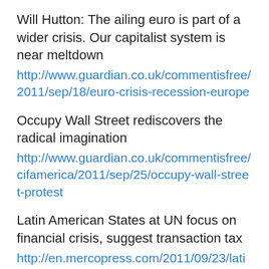Will Hutton: The ailing euro is part of a wider crisis. Our capitalist system is near meltdown
http://www.guardian.co.uk/commentisfree/2011/sep/18/euro-crisis-recession-europe
Occupy Wall Street rediscovers the radical imagination
http://www.guardian.co.uk/commentisfree/cifamerica/2011/sep/25/occupy-wall-street-protest
Latin American States at UN focus on financial crisis, suggest transaction tax
http://en.mercopress.com/2011/09/23/latin-american-states-at-un-focus-on-financial-crisis-suggest-transaction-tax
BBC: Has Western capitalism failed?
http://www.bbc.co.uk/news/business-14972015